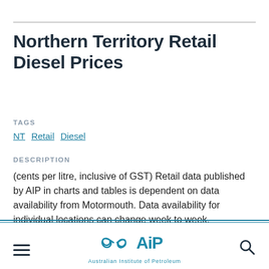Northern Territory Retail Diesel Prices
TAGS
NT Retail Diesel
DESCRIPTION
(cents per litre, inclusive of GST) Retail data published by AIP in charts and tables is dependent on data availability from Motormouth. Data availability for individual locations can change week to week.
Australian Institute of Petroleum